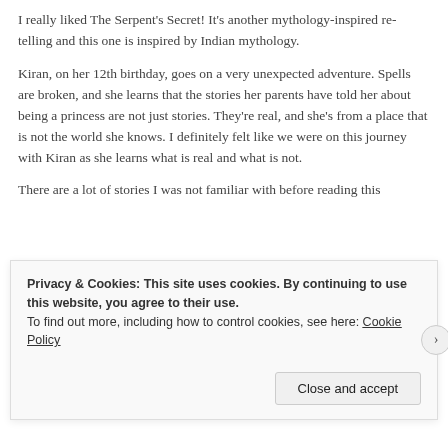I really liked The Serpent's Secret!  It's another mythology-inspired re-telling and this one is inspired by Indian mythology.
Kiran, on her 12th birthday, goes on a very unexpected adventure.  Spells are broken, and she learns that the stories her parents have told her about being a princess are not just stories.  They're real, and she's from a place that is not the world she knows.  I definitely felt like we were on this journey with Kiran as she learns what is real and what is not.
There are a lot of stories I was not familiar with before reading this
Privacy & Cookies: This site uses cookies. By continuing to use this website, you agree to their use.
To find out more, including how to control cookies, see here: Cookie Policy